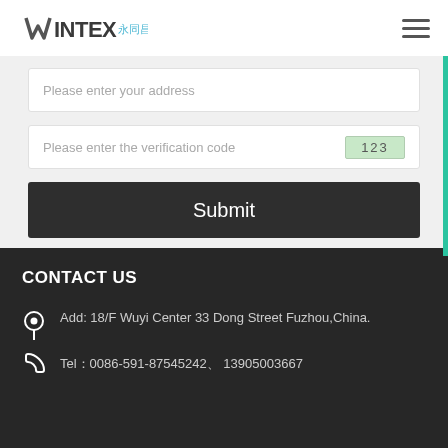WINTEX 永同昌
Please enter your address
Please enter the verification code  123
Submit
CONTACT US
Add: 18/F Wuyi Center 33 Dong Street Fuzhou,China.
Tel：0086-591-87545242、 13905003667